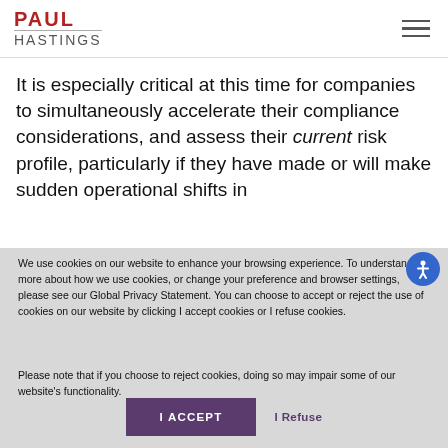PAUL HASTINGS
It is especially critical at this time for companies to simultaneously accelerate their compliance considerations, and assess their current risk profile, particularly if they have made or will make sudden operational shifts in
We use cookies on our website to enhance your browsing experience. To understand more about how we use cookies, or change your preference and browser settings, please see our Global Privacy Statement. You can choose to accept or reject the use of cookies on our website by clicking I accept cookies or I refuse cookies.
Please note that if you choose to reject cookies, doing so may impair some of our website's functionality.